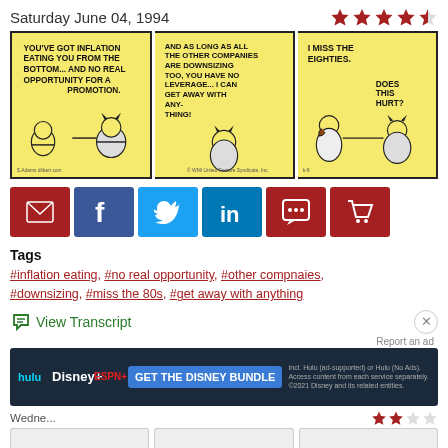Saturday June 04, 1994
[Figure (illustration): Dilbert comic strip from Saturday June 04, 1994. Three panels on yellow background. Panel 1: Boss tells Dilbert 'YOU'VE GOT INFLATION EATING YOU FROM THE BOTTOM... AND NO REAL OPPORTUNITY FOR A PROMOTION.' Panel 2: Boss continues 'AND AS LONG AS ALL THE OTHER COMPANIES ARE DOWNSIZING TOO, YOU HAVE NO LEVERAGE... I CAN GET AWAY WITH ANY- THING!' Panel 3: Boss says 'I MISS THE EIGHTIES.' and asks Dilbert 'DOES THIS HURT?']
[Figure (infographic): Social sharing buttons row: email (red), facebook (dark blue), twitter (light blue), linkedin (blue), comment (red), cart (red)]
Tags
#inflation eating, #no real opportunity, #other compnaies, #downsizing, #miss the 80s, #get away with anything
View Transcript
Report an ad
[Figure (screenshot): Disney Bundle advertisement banner: hulu, Disney+, ESPN+ logos with 'GET THE DISNEY BUNDLE' button and fine print about Hulu and Disney access.]
Wednesday...